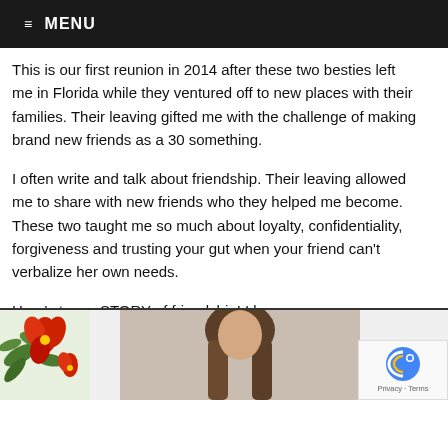≡ MENU
This is our first reunion in 2014 after these two besties left me in Florida while they ventured off to new places with their families. Their leaving gifted me with the challenge of making brand new friends as a 30 something.
I often write and talk about friendship. Their leaving allowed me to share with new friends who they helped me become. These two taught me so much about loyalty, confidentiality, forgiveness and trusting your gut when your friend can't verbalize her own needs.
Here's to my STORY of friendship! I love you @natswitzerland & @chris_vargh@lifesations
[Figure (photo): Bottom strip showing a person with brown hair in center, floral decorative illustration on the left with red flowers and green leaves, and a reCAPTCHA badge on the bottom right corner.]